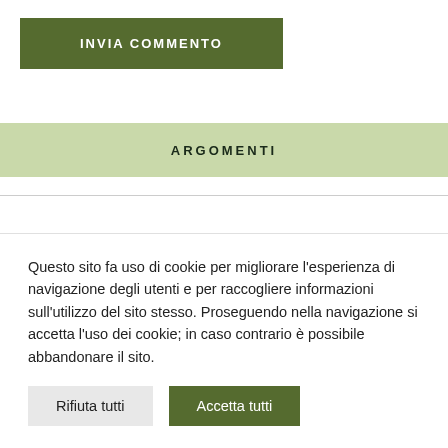[Figure (screenshot): Green button labeled INVIA COMMENTO]
ARGOMENTI
Questo sito fa uso di cookie per migliorare l'esperienza di navigazione degli utenti e per raccogliere informazioni sull'utilizzo del sito stesso. Proseguendo nella navigazione si accetta l'uso dei cookie; in caso contrario è possibile abbandonare il sito.
Rifiuta tutti   Accetta tutti